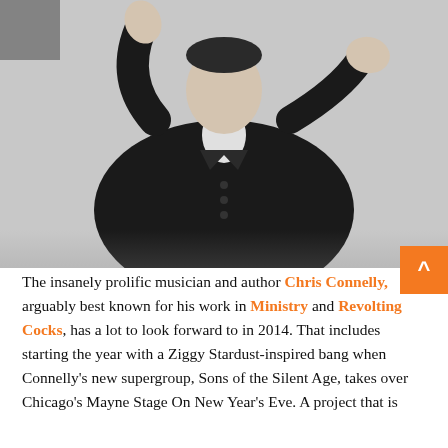[Figure (photo): Black and white photograph of a man in a dark pinstripe suit with both hands raised, palms forward, looking upward slightly. The background is a plain light gray.]
The insanely prolific musician and author Chris Connelly, arguably best known for his work in Ministry and Revolting Cocks, has a lot to look forward to in 2014. That includes starting the year with a Ziggy Stardust-inspired bang when Connelly's new supergroup, Sons of the Silent Age, takes over Chicago's Mayne Stage On New Year's Eve. A project that is